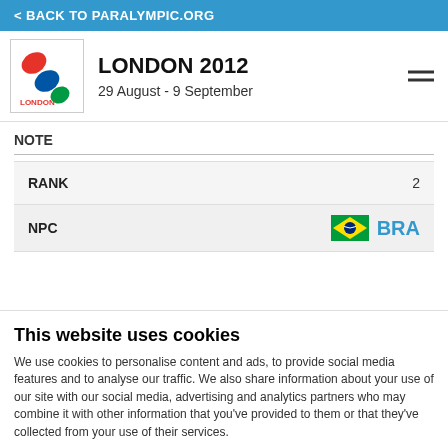BACK TO PARALYMPIC.ORG
LONDON 2012
29 August - 9 September
NOTE
| Field | Value |
| --- | --- |
| RANK | 2 |
| NPC | BRA |
This website uses cookies
We use cookies to personalise content and ads, to provide social media features and to analyse our traffic. We also share information about your use of our site with our social media, advertising and analytics partners who may combine it with other information that you've provided to them or that they've collected from your use of their services.
Use necessary cookies | Allow selection | Allow all cookies
essary  Preferences  Statistics  Show details  keting